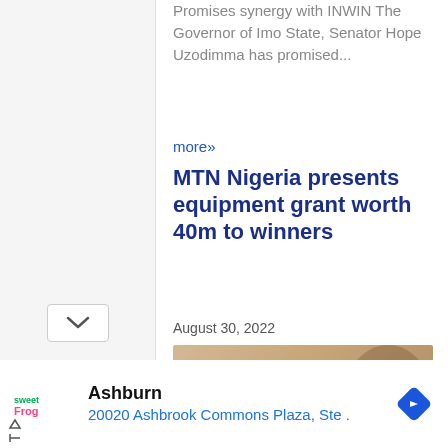Promises synergy with INWIN The Governor of Imo State, Senator Hope Uzodimma has promised...
more»
MTN Nigeria presents equipment grant worth 40m to winners
August 30, 2022
[Figure (photo): Group photo of four people at an event with MTN Foundation backdrop, holding certificates/plaques]
Ashburn
20020 Ashbrook Commons Plaza, Ste .